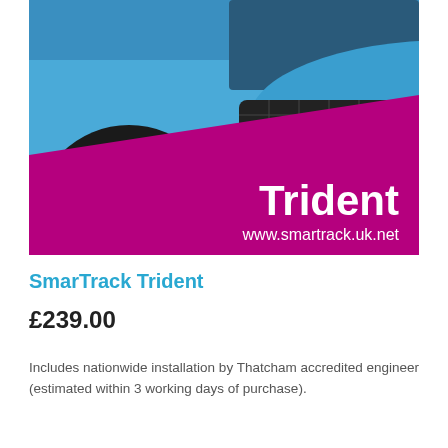[Figure (photo): Close-up photo of a blue sports car's front wheel, alloy rim, and lower front bumper with grille. The lower portion features a magenta/purple diagonal band with the text 'Trident' and 'www.smartrack.uk.net' in white.]
SmarTrack Trident
£239.00
Includes nationwide installation by Thatcham accredited engineer (estimated within 3 working days of purchase).